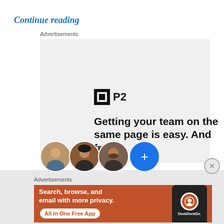Continue reading
Advertisements
[Figure (screenshot): P2 advertisement: logo with icon and text 'P2', headline 'Getting your team on the same page is easy. And free.' with three person avatar circles and a blue plus button]
Advertisements
[Figure (screenshot): DuckDuckGo advertisement: orange background with text 'Search, browse, and email with more privacy. All in One Free App' and a phone mockup showing the DuckDuckGo logo]